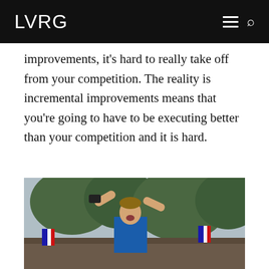LVRG
improvements, it’s hard to really take off from your competition. The reality is incremental improvements means that you’re going to have to be executing better than your competition and it is hard.
[Figure (photo): A man in a blue jersey celebrating with arms raised, holding a black object, shouting, with French flags visible in the crowd and trees in the background.]